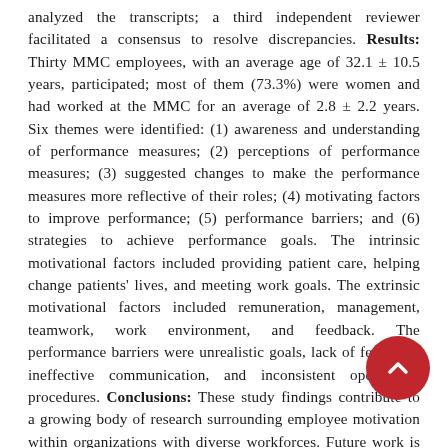analyzed the transcripts; a third independent reviewer facilitated a consensus to resolve discrepancies. Results: Thirty MMC employees, with an average age of 32.1 ± 10.5 years, participated; most of them (73.3%) were women and had worked at the MMC for an average of 2.8 ± 2.2 years. Six themes were identified: (1) awareness and understanding of performance measures; (2) perceptions of performance measures; (3) suggested changes to make the performance measures more reflective of their roles; (4) motivating factors to improve performance; (5) performance barriers; and (6) strategies to achieve performance goals. The intrinsic motivational factors included providing patient care, helping change patients' lives, and meeting work goals. The extrinsic motivational factors included remuneration, management, teamwork, work environment, and feedback. The performance barriers were unrealistic goals, lack of feedback, ineffective communication, and inconsistent operational procedures. Conclusions: These study findings contribute to a growing body of research surrounding employee motivation within organizations with diverse workforces. Future work is warranted to investigate employee motivation in similar pharmacy-related settings.